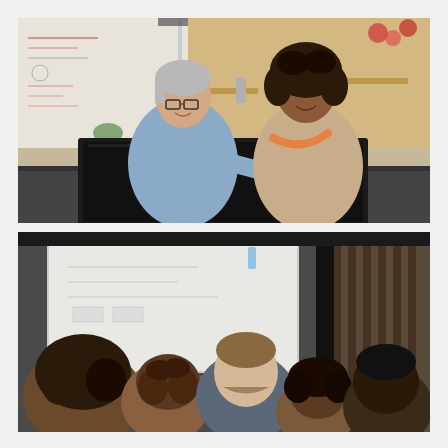[Figure (photo): Two women in an office/cafe workspace looking at a computer monitor together. One woman has short grey hair and glasses wearing a light blue shirt, leaning forward. The other has curly dark hair wearing a beige sleeveless top with an orange scarf. A whiteboard with writing is visible in the background along with a warm, open-plan office environment.]
[Figure (photo): Group of people in a meeting or collaborative session. Multiple individuals are gathered closely together, looking down at something. A whiteboard is visible in the background. The setting appears to be an office conference room.]